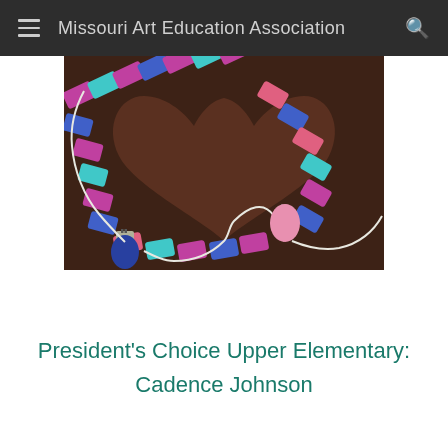Missouri Art Education Association
[Figure (photo): Chalk or pastel artwork on dark brown paper showing a heart shape made from a string of Christmas lights. The lights alternate in colors: magenta/purple, teal/cyan, blue, and pink/coral. A white wire connects the lights. Two light bulb sockets are visible — one at the bottom left (dark blue bulb with a white socket) and one at the right (pink bulb with a white socket). The heart is formed by the string of colorful lights wrapping around.]
President's Choice Upper Elementary:

Cadence Johnson